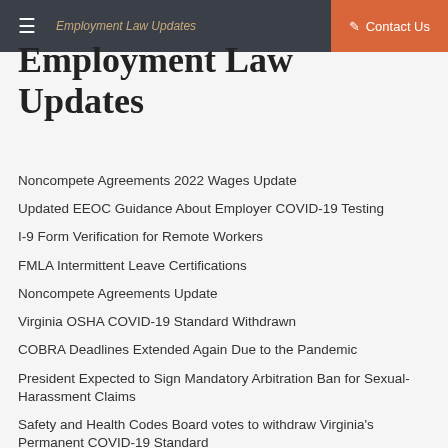Employment Law Updates | Contact Us
Employment Law Updates
Noncompete Agreements 2022 Wages Update
Updated EEOC Guidance About Employer COVID-19 Testing
I-9 Form Verification for Remote Workers
FMLA Intermittent Leave Certifications
Noncompete Agreements Update
Virginia OSHA COVID-19 Standard Withdrawn
COBRA Deadlines Extended Again Due to the Pandemic
President Expected to Sign Mandatory Arbitration Ban for Sexual-Harassment Claims
Safety and Health Codes Board votes to withdraw Virginia's Permanent COVID-19 Standard